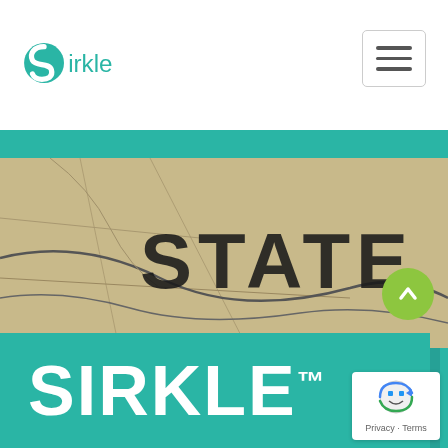[Figure (logo): Sirkle logo with teal circular icon and 'Sirkle' wordmark in teal on white header]
[Figure (screenshot): Navigation hamburger menu button (three horizontal lines) in top right of header]
[Figure (photo): Close-up photo of a physical map showing 'STATE' text in large black letters on beige/tan map background with geographic lines]
[Figure (illustration): Teal decorative section with overlapping teal rectangles, small blue triangle pointing left, dotted/striped white vertical rectangle, and small cyan rotated square]
SIRKLE™
[Figure (other): Green circular scroll-to-top button with upward chevron arrow]
[Figure (other): Google reCAPTCHA badge with robot icon and 'Privacy · Terms' text]